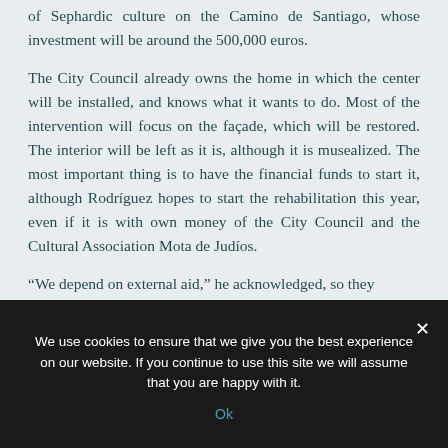of Sephardic culture on the Camino de Santiago, whose investment will be around the 500,000 euros.
The City Council already owns the home in which the center will be installed, and knows what it wants to do. Most of the intervention will focus on the façade, which will be restored. The interior will be left as it is, although it is musealized. The most important thing is to have the financial funds to start it, although Rodríguez hopes to start the rehabilitation this year, even if it is with own money of the City Council and the Cultural Association Mota de Judíos.
“We depend on external aid,” he acknowledged, so they
We use cookies to ensure that we give you the best experience on our website. If you continue to use this site we will assume that you are happy with it.
Ok